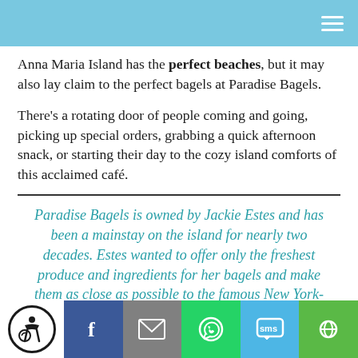Anna Maria Island has the perfect beaches, but it may also lay claim to the perfect bagels at Paradise Bagels.
There's a rotating door of people coming and going, picking up special orders, grabbing a quick afternoon snack, or starting their day to the cozy island comforts of this acclaimed café.
Paradise Bagels is owned by Jackie Estes and has been a mainstay on the island for nearly two decades. Estes wanted to offer only the freshest produce and ingredients for her bagels and make them as close as possible to the famous New York-style water bagels.